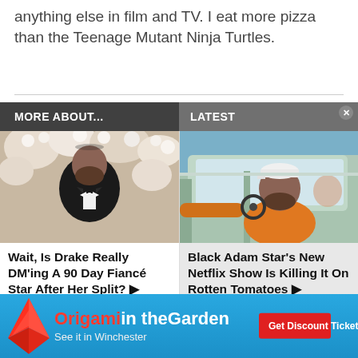anything else in film and TV. I eat more pizza than the Teenage Mutant Ninja Turtles.
MORE ABOUT...
LATEST
[Figure (photo): Man in tuxedo with bow tie at a floral event]
Wait, Is Drake Really DM'ing A 90 Day Fiancé Star After Her Split? ▶
[Figure (photo): Man in orange shirt sitting in a car]
Black Adam Star's New Netflix Show Is Killing It On Rotten Tomatoes ▶
[Figure (infographic): Advertisement banner: Origami in the Garden - See it in Winchester - Get Discount Tickets button]